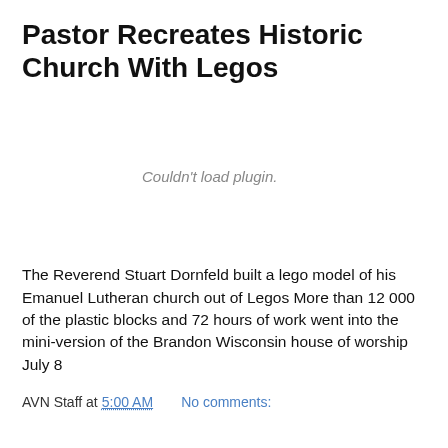Pastor Recreates Historic Church With Legos
[Figure (other): Embedded plugin area showing 'Couldn't load plugin.' message — a video or media embed that failed to load.]
The Reverend Stuart Dornfeld built a lego model of his Emanuel Lutheran church out of Legos More than 12 000 of the plastic blocks and 72 hours of work went into the mini-version of the Brandon Wisconsin house of worship July 8
AVN Staff at 5:00 AM    No comments: